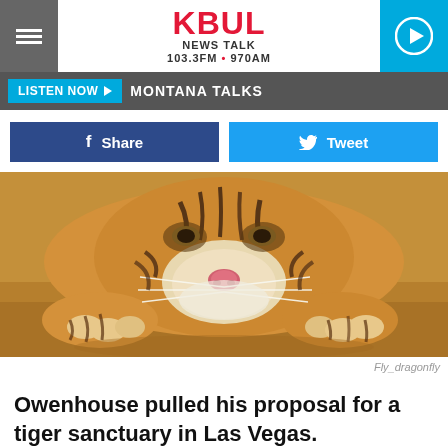KBUL NEWS TALK 103.3FM • 970AM
LISTEN NOW ▶  MONTANA TALKS
f  Share    🐦  Tweet
[Figure (photo): Close-up photo of a tiger cub lying on a wooden floor, face resting on its paws, looking at the camera.]
Fly_dragonfly
Owenhouse pulled his proposal for a tiger sanctuary in Las Vegas.